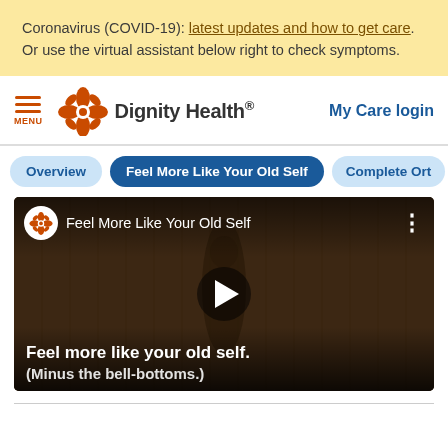Coronavirus (COVID-19): latest updates and how to get care. Or use the virtual assistant below right to check symptoms.
[Figure (logo): Dignity Health logo with orange flower emblem and text 'Dignity Health.' with 'My Care login' link on the right]
Overview | Feel More Like Your Old Self | Complete Orth
[Figure (screenshot): Video thumbnail for 'Feel More Like Your Old Self' showing a woman dancing in front of wood-paneled wall, with play button and subtitle 'Feel more like your old self. (Minus the bell-bottoms.)']